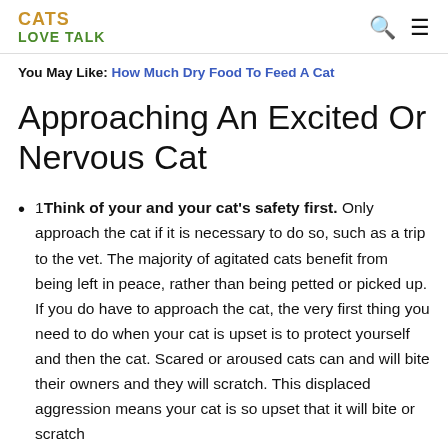CATS LOVE TALK
You May Like: How Much Dry Food To Feed A Cat
Approaching An Excited Or Nervous Cat
1 Think of your and your cat's safety first. Only approach the cat if it is necessary to do so, such as a trip to the vet. The majority of agitated cats benefit from being left in peace, rather than being petted or picked up. If you do have to approach the cat, the very first thing you need to do when your cat is upset is to protect yourself and then the cat. Scared or aroused cats can and will bite their owners and they will scratch. This displaced aggression means your cat is so upset that it will bite or scratch